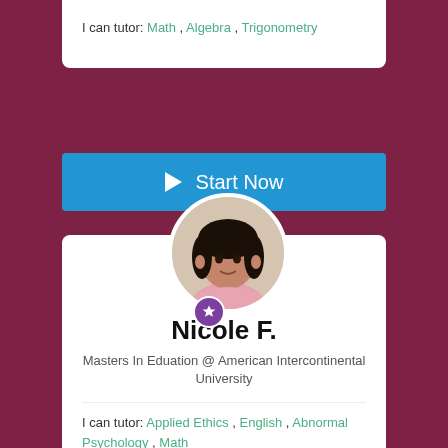I can tutor: Math , Algebra , Trigonometry
▶ Start Now
[Figure (photo): Circular profile photo of Nicole F., a woman with dark hair wearing a pink top]
Nicole F.
Masters In Eduation @ American Intercontinental University
I can tutor: Applied Ethics , English , Abnormal Psychology , Math